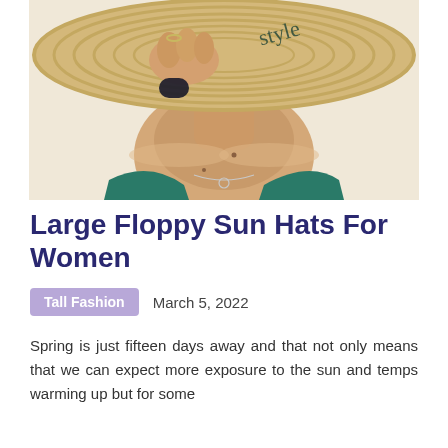[Figure (photo): Close-up photo of a woman wearing a large straw floppy sun hat and a teal bikini top, with a delicate necklace visible, holding the brim of the hat with one hand.]
Large Floppy Sun Hats For Women
Tall Fashion   March 5, 2022
Spring is just fifteen days away and that not only means that we can expect more exposure to the sun and temps warming up but for some